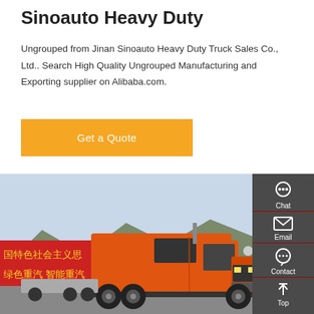Sinoauto Heavy Duty
Ungrouped from Jinan Sinoauto Heavy Duty Truck Sales Co., Ltd.. Search High Quality Ungrouped Manufacturing and Exporting supplier on Alibaba.com.
[Figure (screenshot): Orange 'Get a Quote' button]
[Figure (photo): Orange heavy duty truck (tractor unit) parked in front of mountains with Chinese signage reading 国特色社会主义思想 绿色重汽 智能重汽]
[Figure (infographic): Dark sidebar with Chat, Email, Contact, and Top icons]